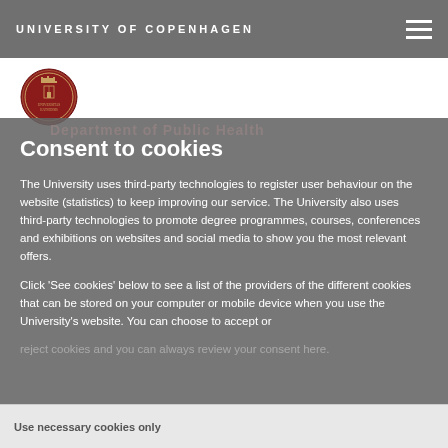UNIVERSITY OF COPENHAGEN
[Figure (logo): University of Copenhagen red crest/seal logo]
Consent to cookies
The University uses third-party technologies to register user behaviour on the website (statistics) to keep improving our service. The University also uses third-party technologies to promote degree programmes, courses, conferences and exhibitions on websites and social media to show you the most relevant offers.
Click 'See cookies' below to see a list of the providers of the different cookies that can be stored on your computer or mobile device when you use the University's website. You can choose to accept or reject cookies and you can always review your consent here.